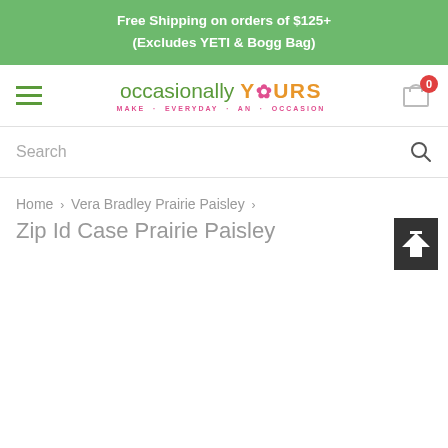Free Shipping on orders of $125+
(Excludes YETI & Bogg Bag)
[Figure (logo): Occasionally Yours logo with tagline MAKE EVERYDAY AN OCCASION]
Search
Home > Vera Bradley Prairie Paisley >
Zip Id Case Prairie Paisley